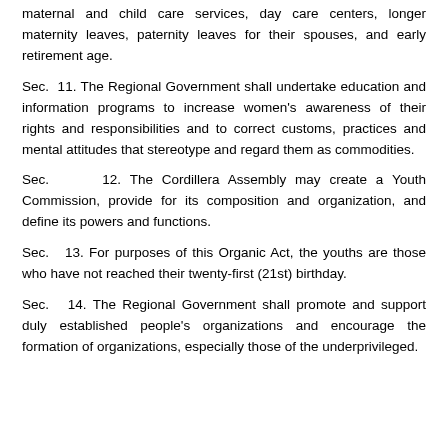maternal and child care services, day care centers, longer maternity leaves, paternity leaves for their spouses, and early retirement age.
Sec. 11. The Regional Government shall undertake education and information programs to increase women's awareness of their rights and responsibilities and to correct customs, practices and mental attitudes that stereotype and regard them as commodities.
Sec. 12. The Cordillera Assembly may create a Youth Commission, provide for its composition and organization, and define its powers and functions.
Sec. 13. For purposes of this Organic Act, the youths are those who have not reached their twenty-first (21st) birthday.
Sec. 14. The Regional Government shall promote and support duly established people's organizations and encourage the formation of organizations, especially those of the underprivileged.